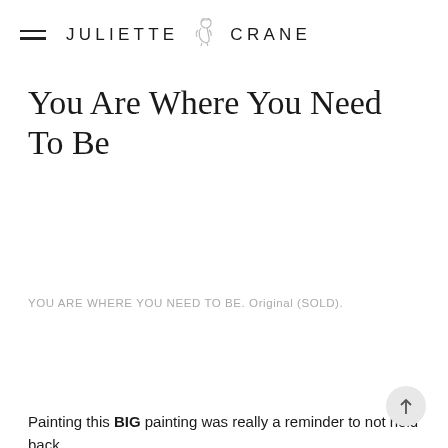JULIETTE CRANE
You Are Where You Need To Be
YOU ARE WHERE YOU NEED TO BE. Original (SOLD).
Painting this BIG painting was really a reminder to not hold back.